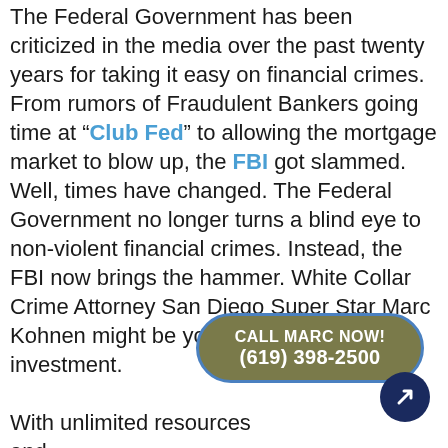The Federal Government has been criticized in the media over the past twenty years for taking it easy on financial crimes. From rumors of Fraudulent Bankers going time at "Club Fed" to allowing the mortgage market to blow up, the FBI got slammed. Well, times have changed. The Federal Government no longer turns a blind eye to non-violent financial crimes. Instead, the FBI now brings the hammer. White Collar Crime Attorney San Diego Super Star Marc Kohnen might be your next best investment.

With unlimited resources and [CALL MARC NOW! (619) 398-2500] United States Government be[hind the FBI] and US Attorneys Office enlist the best help. The IRS and ATF can even get special subpoenas to track and trace money sources. If you have been indicted, you need to move...
[Figure (other): Call to action button with text CALL MARC NOW! (619) 398-2500 in a rounded rectangle with olive/tan background and blue border]